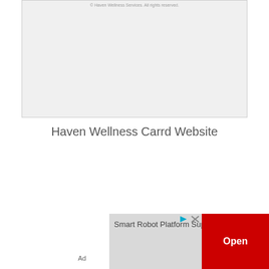[Figure (screenshot): Screenshot of Haven Wellness Carrd Website with a light gray background and watermark text '© Haven Wellness Services. All rights reserved.']
Haven Wellness Carrd Website
[Figure (screenshot): Advertisement banner showing 'Smart Robot Platform Supply' text with a red 'Open' button and ad controls. 'Ad' label visible at bottom left.]